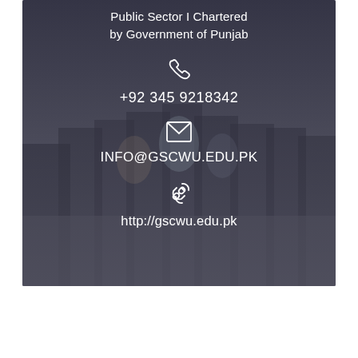[Figure (photo): A group of people (students and faculty) standing outdoors on a paved area, with a dark overlay. The image is used as a background for contact information of a Government institution in Wampura/Punjab.]
Public Sector I Chartered by Government of Punjab
+92 345 9218342
INFO@GSCWU.EDU.PK
http://gscwu.edu.pk